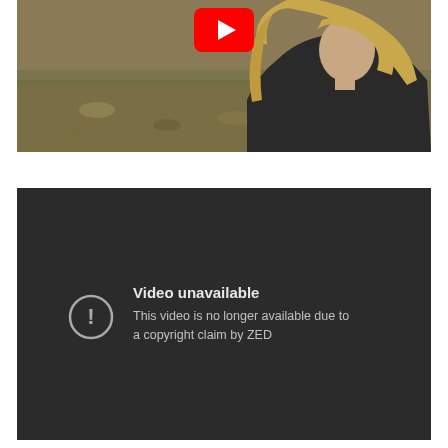[Figure (screenshot): YouTube video thumbnail showing a woman with long blonde hair outdoors on grassy/earthy ground, with a YouTube play button icon at the top center]
[Figure (screenshot): YouTube video unavailable error screen with dark background, exclamation mark icon in a circle, title 'Video unavailable', and message 'This video is no longer available due to a copyright claim by ZED']